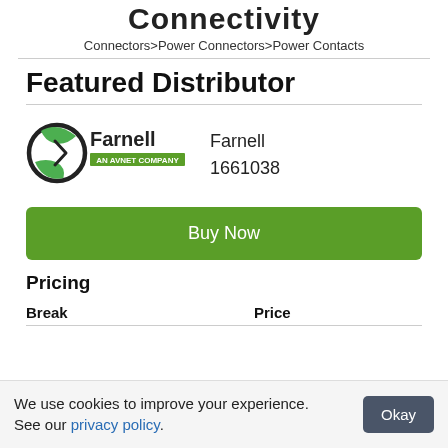Connectivity
Connectors>Power Connectors>Power Contacts
Featured Distributor
[Figure (logo): Farnell AN AVNET COMPANY logo with circular green and black icon]
Farnell
1661038
Buy Now
Pricing
| Break | Price |
| --- | --- |
We use cookies to improve your experience. See our privacy policy.